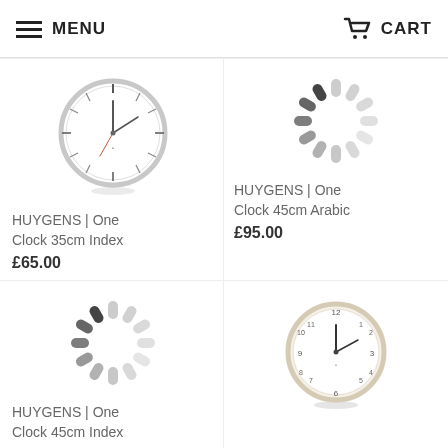MENU   CART
[Figure (photo): HUYGENS One Clock 35cm Index – round silver wall clock with index markers and thin hands]
HUYGENS | One Clock 35cm Index
£65.00
[Figure (illustration): Loading spinner / placeholder image (grey spokes radiating from center)]
HUYGENS | One Clock 45cm Arabic
£95.00
[Figure (illustration): Loading spinner / placeholder image (grey spokes radiating from center)]
HUYGENS | One Clock 45cm Index
[Figure (photo): HUYGENS One Clock – round wall clock with wooden/neutral frame, Arabic numerals and thin hands]